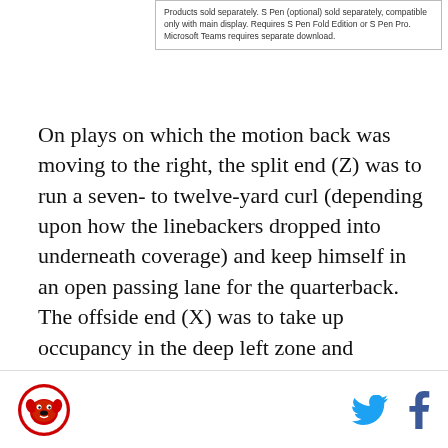[Figure (other): Advertisement box with text: Products sold separately. S Pen (optional) sold separately, compatible only with main display. Requires S Pen Fold Edition or S Pen Pro. Microsoft Teams requires separate download.]
On plays on which the motion back was moving to the right, the split end (Z) was to run a seven- to twelve-yard curl (depending upon how the linebackers dropped into underneath coverage) and keep himself in an open passing lane for the quarterback. The offside end (X) was to take up occupancy in the deep left zone and maintain his awareness of the defender playing him.
The onside slot receiver (Y) had responsibility for reading the first linebacker to the inside. If that linebacker blitzed, the slot receiver was to yell, "Hot!"
[Figure (logo): Website footer with logo (bulldog mascot icon), Twitter bird icon, and Facebook f icon]